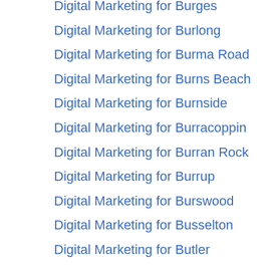Digital Marketing for Burges
Digital Marketing for Burlong
Digital Marketing for Burma Road
Digital Marketing for Burns Beach
Digital Marketing for Burnside
Digital Marketing for Burracoppin
Digital Marketing for Burran Rock
Digital Marketing for Burrup
Digital Marketing for Burswood
Digital Marketing for Busselton
Digital Marketing for Butler
Digital Marketing for Byford